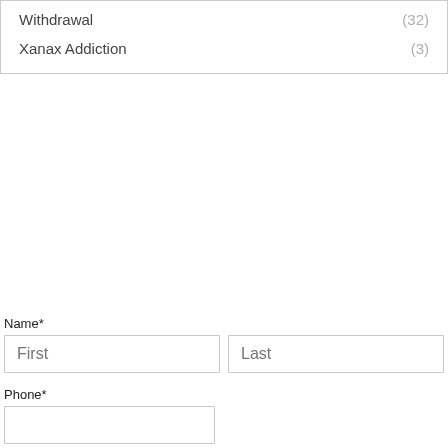Withdrawal (32)
Xanax Addiction (3)
Name*
First
Last
Phone*